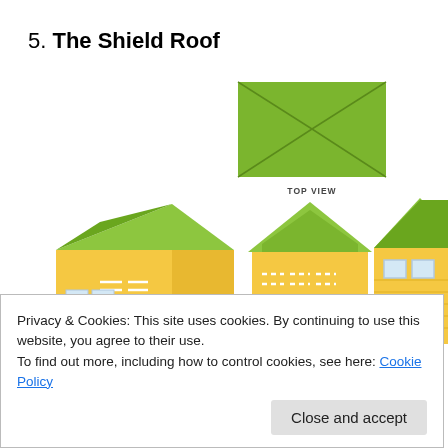5. The Shield Roof
[Figure (illustration): Illustration of a shield roof showing a top view (green rectangle with X-lines showing hip roof shape) and three perspective/front/side views of houses with green shield (hip) roofs and yellow walls. The top view is labeled 'TOP VIEW'. Three house views show front-left perspective, front view (with garage door and red door), and side view (with two windows).]
Privacy & Cookies: This site uses cookies. By continuing to use this website, you agree to their use.
To find out more, including how to control cookies, see here: Cookie Policy
Close and accept